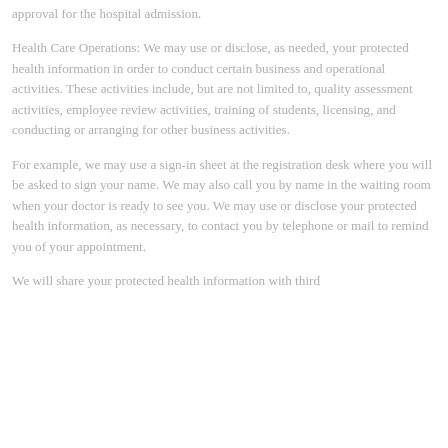approval for the hospital admission.
Health Care Operations: We may use or disclose, as needed, your protected health information in order to conduct certain business and operational activities. These activities include, but are not limited to, quality assessment activities, employee review activities, training of students, licensing, and conducting or arranging for other business activities.
For example, we may use a sign-in sheet at the registration desk where you will be asked to sign your name. We may also call you by name in the waiting room when your doctor is ready to see you. We may use or disclose your protected health information, as necessary, to contact you by telephone or mail to remind you of your appointment.
We will share your protected health information with third